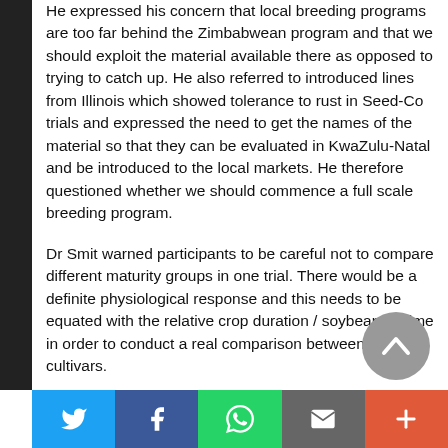He expressed his concern that local breeding programs are too far behind the Zimbabwean program and that we should exploit the material available there as opposed to trying to catch up. He also referred to introduced lines from Illinois which showed tolerance to rust in Seed-Co trials and expressed the need to get the names of the material so that they can be evaluated in KwaZulu-Natal and be introduced to the local markets. He therefore questioned whether we should commence a full scale breeding program.
Dr Smit warned participants to be careful not to compare different maturity groups in one trial. There would be a definite physiological response and this needs to be equated with the relative crop duration / soybean lifetime in order to conduct a real comparison between different cultivars.
Dr Purchase enquired as to whether this relates to the